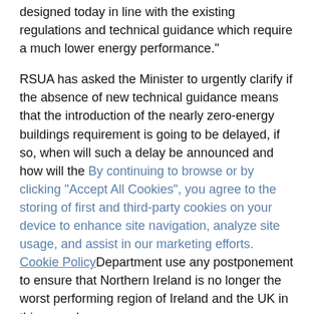designed today in line with the existing regulations and technical guidance which require a much lower energy performance."
RSUA has asked the Minister to urgently clarify if the absence of new technical guidance means that the introduction of the nearly zero-energy buildings requirement is going to be delayed, if so, when will such a delay be announced and how will the Department use any postponement to ensure that Northern Ireland is no longer the worst performing region of Ireland and the UK in this regard.
The RSUA's call to the Minister was announced at an oversubscribed event for architects which was addressed by Tomás O'Leary, one of the leading nearly zero-energy building experts in Ireland.
Explanatory Notes